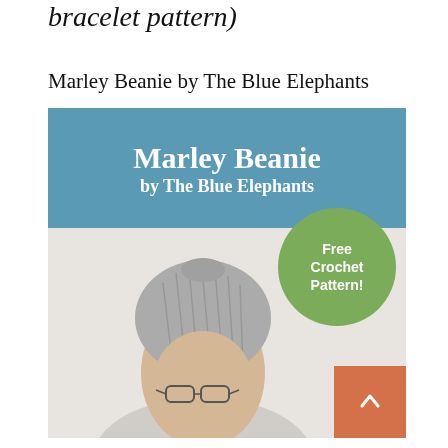bracelet pattern)
Marley Beanie by The Blue Elephants
[Figure (photo): Promotional image for the Marley Beanie crochet pattern by The Blue Elephants. Features a blue banner with white serif text reading 'Marley Beanie by The Blue Elephants', a green circle badge reading 'Free Crochet Pattern!', and a photo of a person wearing a gray textured crocheted beanie and glasses.]